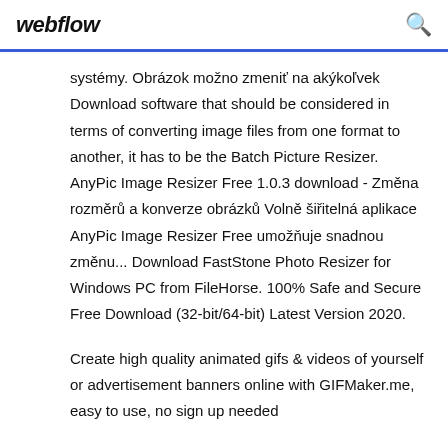webflow
systémy. Obrázok možno zmeniť na akýkoľvek Download software that should be considered in terms of converting image files from one format to another, it has to be the Batch Picture Resizer. AnyPic Image Resizer Free 1.0.3 download - Změna rozměrů a konverze obrázků Volně šiřitelná aplikace AnyPic Image Resizer Free umožňuje snadnou změnu... Download FastStone Photo Resizer for Windows PC from FileHorse. 100% Safe and Secure Free Download (32-bit/64-bit) Latest Version 2020.
Create high quality animated gifs & videos of yourself or advertisement banners online with GIFMaker.me, easy to use, no sign up needed